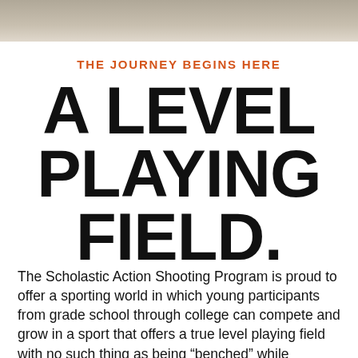[Figure (photo): Partial photo strip visible at the top of the page, showing a cropped image (likely of a shooter or sporting scene).]
THE JOURNEY BEGINS HERE
A LEVEL PLAYING FIELD.
The Scholastic Action Shooting Program is proud to offer a sporting world in which young participants from grade school through college can compete and grow in a sport that offers a true level playing field with no such thing as being "benched" while developing skills and